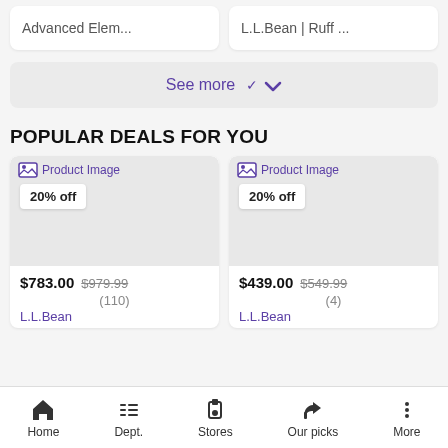Advanced Elem...
L.L.Bean | Ruff ...
See more ∨
POPULAR DEALS FOR YOU
[Figure (screenshot): Product card 1: image placeholder, 20% off badge, $783.00 $979.99 (110) L.L.Bean]
[Figure (screenshot): Product card 2: image placeholder, 20% off badge, $439.00 $549.99 (4) L.L.Bean]
Home  Dept.  Stores  Our picks  More